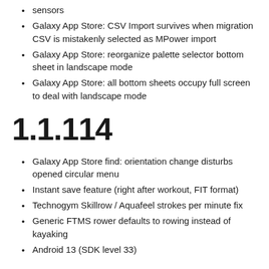sensors
Galaxy App Store: CSV Import survives when migration CSV is mistakenly selected as MPower import
Galaxy App Store: reorganize palette selector bottom sheet in landscape mode
Galaxy App Store: all bottom sheets occupy full screen to deal with landscape mode
1.1.114
Galaxy App Store find: orientation change disturbs opened circular menu
Instant save feature (right after workout, FIT format)
Technogym Skillrow / Aquafeel strokes per minute fix
Generic FTMS rower defaults to rowing instead of kayaking
Android 13 (SDK level 33)
1.1.113